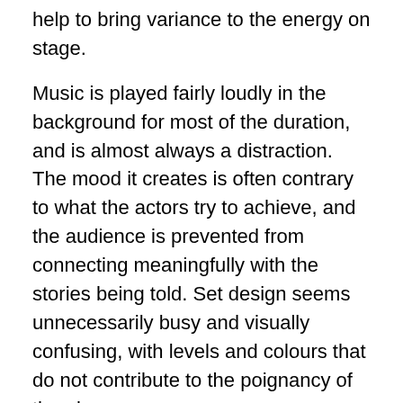help to bring variance to the energy on stage.
Music is played fairly loudly in the background for most of the duration, and is almost always a distraction. The mood it creates is often contrary to what the actors try to achieve, and the audience is prevented from connecting meaningfully with the stories being told. Set design seems unnecessarily busy and visually confusing, with levels and colours that do not contribute to the poignancy of the play.
The production is a timely one, considering our interest in the subject matter. Many of us have strong feelings about events of mass terror, and an opportunity for catharsis is undoubtedly welcome, but on this occasion there is insufficient clarity in the execution of its purpose. The issues we face are complex and a lot more is required for those things to begin to make sense.